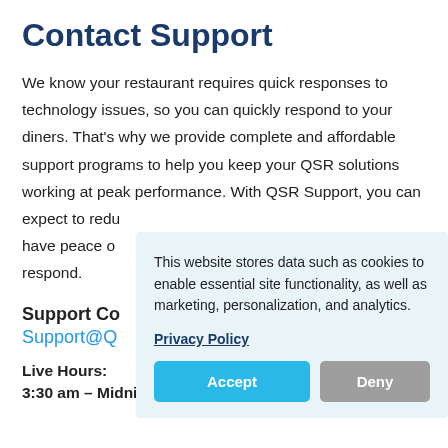Contact Support
We know your restaurant requires quick responses to technology issues, so you can quickly respond to your diners. That’s why we provide complete and affordable support programs to help you keep your QSR solutions working at peak performance. With QSR Support, you can expect to reduce downtime, increase productivity, and have peace of mind knowing we are always ready to respond.
Support Contact:
Support@QSRAutomation.com
Live Hours:
3:30 am – Midnight, Eastern, Monday – Friday.
This website stores data such as cookies to enable essential site functionality, as well as marketing, personalization, and analytics.
Privacy Policy
Accept
Deny